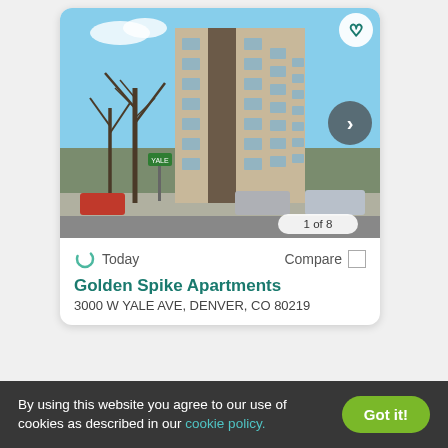[Figure (photo): Exterior photo of a tall multi-story apartment building (Golden Spike Apartments) with bare winter trees in the foreground, cars parked in front, blue sky background. Shows '1 of 8' image counter, a heart/favorite button, and a right navigation arrow.]
Today
Compare
Golden Spike Apartments
3000 W YALE AVE, DENVER, CO 80219
By using this website you agree to our use of cookies as described in our cookie policy.